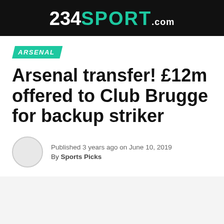234SPORT.com
ARSENAL
Arsenal transfer! £12m offered to Club Brugge for backup striker
Published 3 years ago on June 10, 2019
By Sports Picks